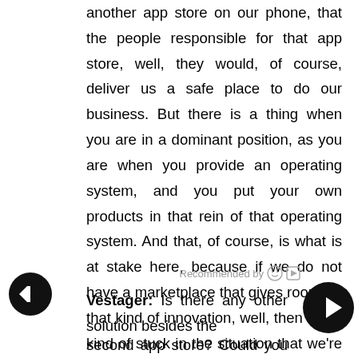another app store on our phone, that the people responsible for that app store, well, they would, of course, deliver us a safe place to do our business. But there is a thing when you are in a dominant position, as you are when you provide an operating system, and you put your own products in that rein of that operating system. And that, of course, is what is at stake here, because if we do not have a marketplace that gives room for that kind of innovation, well, then we're kind of stuck in the situation that we're in right now.
Vestager: Is there any other solution besides the second app store? Could you regulate them, or regulate the commission fees? Or is there any other